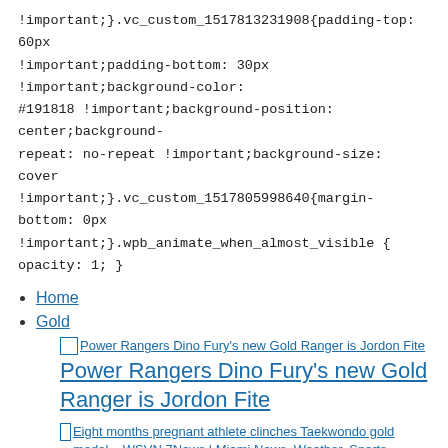!important;}.vc_custom_1517813231908{padding-top: 60px !important;padding-bottom: 30px !important;background-color: #191818 !important;background-position: center;background-repeat: no-repeat !important;background-size: cover !important;}.vc_custom_1517805998640{margin-bottom: 0px !important;}.wpb_animate_when_almost_visible { opacity: 1; }
Home
Gold
[Figure (other): Broken image placeholder with alt text: Power Rangers Dino Fury's new Gold Ranger is Jordon Fite]
Power Rangers Dino Fury's new Gold Ranger is Jordon Fite
[Figure (other): Broken image placeholder with alt text: Eight months pregnant athlete clinches Taekwondo gold medal – WSVN 7News | Miami News, Weather, Sports]
Eight months pregnant athlete clinches Taekwondo gold medal – WSVN 7News |